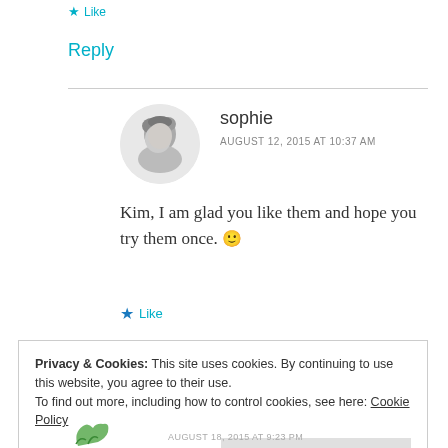★ Like
Reply
[Figure (photo): Circular avatar photo of user sophie, grayscale portrait]
sophie
AUGUST 12, 2015 AT 10:37 AM
Kim, I am glad you like them and hope you try them once. 🙂
★ Like
Privacy & Cookies: This site uses cookies. By continuing to use this website, you agree to their use.
To find out more, including how to control cookies, see here: Cookie Policy
Close and accept
AUGUST 18, 2015 AT 9:23 PM